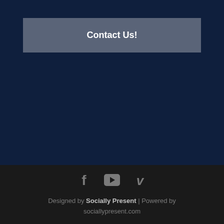Contact Us!
[Figure (other): Social media icons row: Facebook (f), YouTube (play button), Vimeo (v)]
Designed by Socially Present | Powered by sociallypresent.com